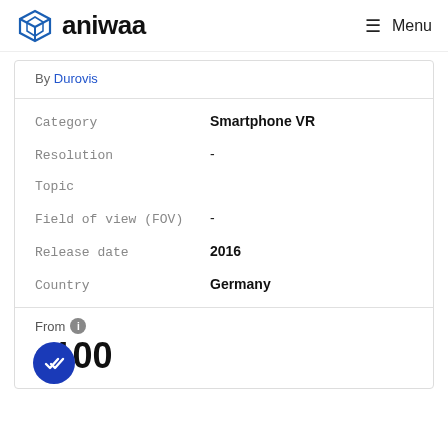aniwaa — Menu
By Durovis
| Field | Value |
| --- | --- |
| Category | Smartphone VR |
| Resolution | - |
| Topic |  |
| Field of view (FOV) | - |
| Release date | 2016 |
| Country | Germany |
From ℹ
$ 100